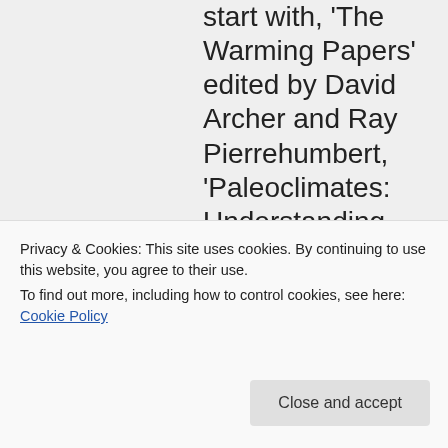start with, 'The Warming Papers' edited by David Archer and Ray Pierrehumbert, 'Paleoclimates: Understanding Climate Change Past and Present' by Thomas M Cronin (this one particularly
history of climate
Privacy & Cookies: This site uses cookies. By continuing to use this website, you agree to their use.
To find out more, including how to control cookies, see here: Cookie Policy
Close and accept